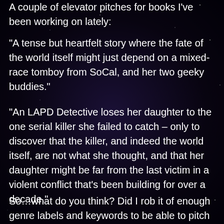A couple of elevator pitches for books I've been working on lately:
“A tense but heartfelt story where the fate of the world itself might just depend on a mixed-race tomboy from SoCal, and her two geeky buddies.”
“An LAPD Detective loses her daughter to the one serial killer she failed to catch – only to discover that the killer, and indeed the world itself, are not what she thought, and that her daughter might be far from the last victim in a violent conflict that’s been building for over a decade.”
So…what do you think? Did I rob it of enough genre labels and keywords to be able to pitch them both (almost) anywhere, you think?